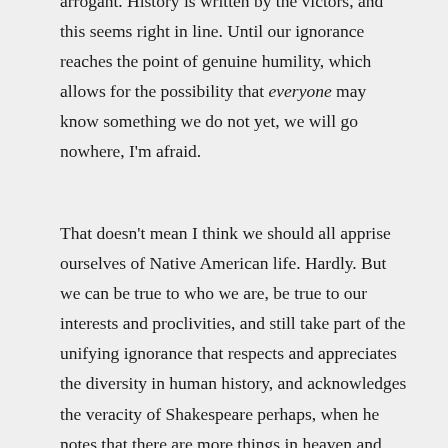arrogant. History is written by the victors, and this seems right in line. Until our ignorance reaches the point of genuine humility, which allows for the possibility that everyone may know something we do not yet, we will go nowhere, I'm afraid.
That doesn't mean I think we should all apprise ourselves of Native American life. Hardly. But we can be true to who we are, be true to our interests and proclivities, and still take part of the unifying ignorance that respects and appreciates the diversity in human history, and acknowledges the veracity of Shakespeare perhaps, when he notes that there are more things in heaven and earth than are dreamt of